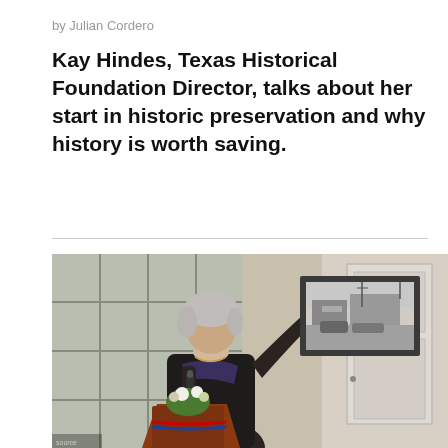by Julian Cordero
Kay Hindes, Texas Historical Foundation Director, talks about her start in historic preservation and why history is worth saving.
[Figure (photo): A woman with gray hair holding up a framed black-and-white photograph of an old building, while speaking at a podium with a microphone. She is wearing a dark jacket. There are flowers on the podium and a door visible in the background.]